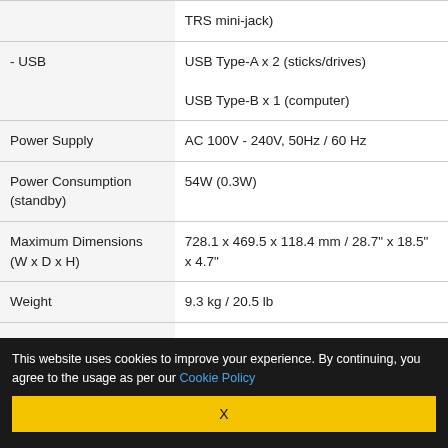| Specification | Value |
| --- | --- |
|  | TRS mini-jack) |
| - USB | USB Type-A x 2 (sticks/drives)
USB Type-B x 1 (computer) |
| Power Supply | AC 100V - 240V, 50Hz / 60 Hz |
| Power Consumption (standby) | 54W (0.3W) |
| Maximum Dimensions (W x D x H) | 728.1 x 469.5 x 118.4 mm / 28.7" x 18.5" x 4.7" |
| Weight | 9.3 kg / 20.5 lb |
| In the box | Power cable
USB cable |
This website uses cookies to improve your experience. By continuing, you agree to the usage as per our Cookie Policy
X